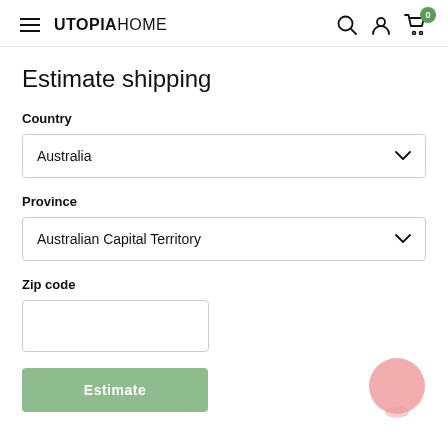UTOPIAHOME
Estimate shipping
Country
Australia
Province
Australian Capital Territory
Zip code
Estimate